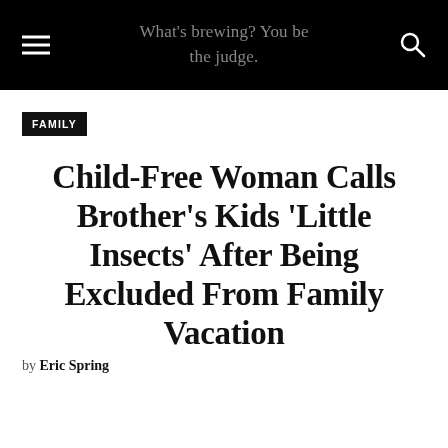What's brewing? You be the judge.
FAMILY
Child-Free Woman Calls Brother's Kids 'Little Insects' After Being Excluded From Family Vacation
by Eric Spring